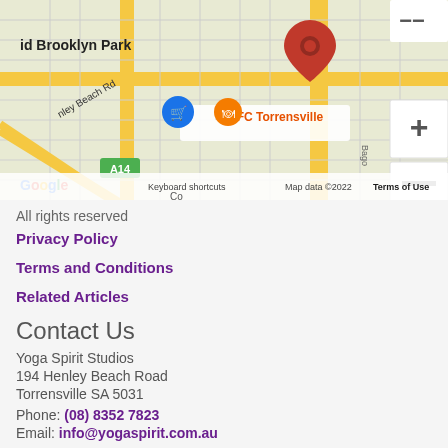[Figure (map): Google Maps screenshot showing KFC Torrensville location near 194 Henley Beach Road, Torrensville SA 5031, with Brooklyn Park and Mile End visible, map data 2022]
All rights reserved
Privacy Policy
Terms and Conditions
Related Articles
Contact Us
Yoga Spirit Studios
194 Henley Beach Road
Torrensville SA 5031
Phone: (08) 8352 7823
Email: info@yogaspirit.com.au